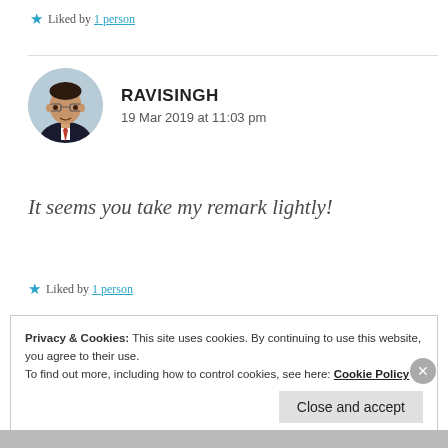★ Liked by 1 person
RAVISINGH
19 Mar 2019 at 11:03 pm
[Figure (photo): Circular avatar photo of a man in a suit with a red tie, wearing glasses, with a light blue background.]
It seems you take my remark lightly!
★ Liked by 1 person
Privacy & Cookies: This site uses cookies. By continuing to use this website, you agree to their use.
To find out more, including how to control cookies, see here: Cookie Policy
Close and accept